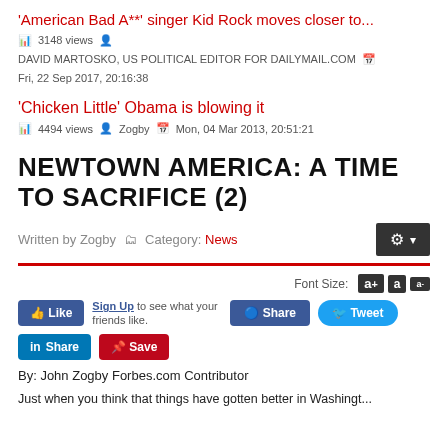'American Bad A**' singer Kid Rock moves closer to...
3148 views   DAVID MARTOSKO, US POLITICAL EDITOR FOR DAILYMAIL.COM   Fri, 22 Sep 2017, 20:16:38
'Chicken Little' Obama is blowing it
4494 views   Zogby   Mon, 04 Mar 2013, 20:51:21
NEWTOWN AMERICA: A TIME TO SACRIFICE (2)
Written by Zogby   Category: News
Font Size:
Like   Sign Up to see what your friends like.   Share   Tweet
Share   Save
By: John Zogby Forbes.com Contributor
Just when you think that things have gotten better in Washingt...